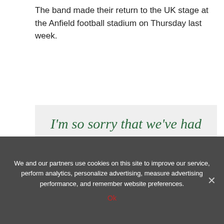The band made their return to the UK stage at the Anfield football stadium on Thursday last week.
[Figure (screenshot): Green italic serif quote on light gray background reading: I'm so sorry that we've had to postpone the Amsterdam show with such short notice tonight. I have unfortunately just tested positive for COVID. We aim to reschedule the date ASAP and...]
We and our partners use cookies on this site to improve our service, perform analytics, personalize advertising, measure advertising performance, and remember website preferences.
Ok